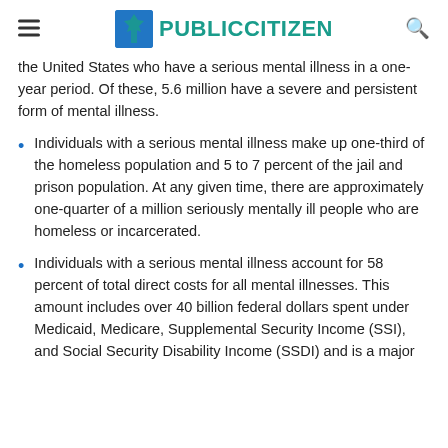PUBLIC CITIZEN
the United States who have a serious mental illness in a one-year period. Of these, 5.6 million have a severe and persistent form of mental illness.
Individuals with a serious mental illness make up one-third of the homeless population and 5 to 7 percent of the jail and prison population. At any given time, there are approximately one-quarter of a million seriously mentally ill people who are homeless or incarcerated.
Individuals with a serious mental illness account for 58 percent of total direct costs for all mental illnesses. This amount includes over 40 billion federal dollars spent under Medicaid, Medicare, Supplemental Security Income (SSI), and Social Security Disability Income (SSDI) and is a major